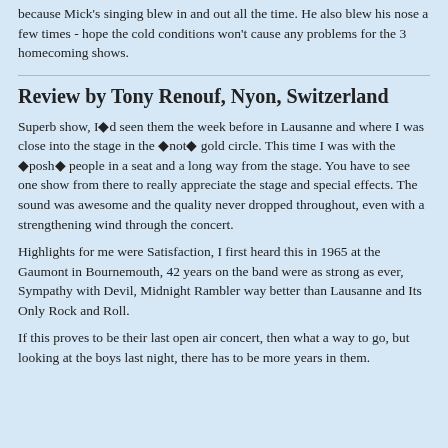because Mick's singing blew in and out all the time. He also blew his nose a few times - hope the cold conditions won't cause any problems for the 3 homecoming shows.
Review by Tony Renouf, Nyon, Switzerland
Superb show, I�d seen them the week before in Lausanne and where I was close into the stage in the �not� gold circle. This time I was with the �posh� people in a seat and a long way from the stage. You have to see one show from there to really appreciate the stage and special effects. The sound was awesome and the quality never dropped throughout, even with a strengthening wind through the concert.
Highlights for me were Satisfaction, I first heard this in 1965 at the Gaumont in Bournemouth, 42 years on the band were as strong as ever, Sympathy with Devil, Midnight Rambler way better than Lausanne and Its Only Rock and Roll.
If this proves to be their last open air concert, then what a way to go, but looking at the boys last night, there has to be more years in them.